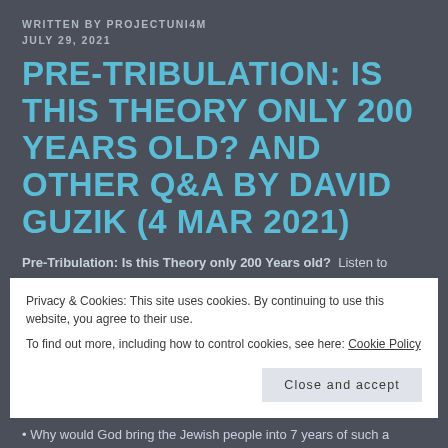WRITTEN BY PROJECTUNI4M
JULY 29, 2021
PRE-TRIBULATION: IS THIS THEORY ONLY 200 YEARS OLD? AND OTHER Q&A BY DAVID GUZIK (4 MAR 2021)
Pre-Tribulation: Is this Theory only 200 Years old?  Listen to
Privacy & Cookies: This site uses cookies. By continuing to use this website, you agree to their use.
To find out more, including how to control cookies, see here: Cookie Policy
Close and accept
Why would God bring the Jewish people into 7 years of such a